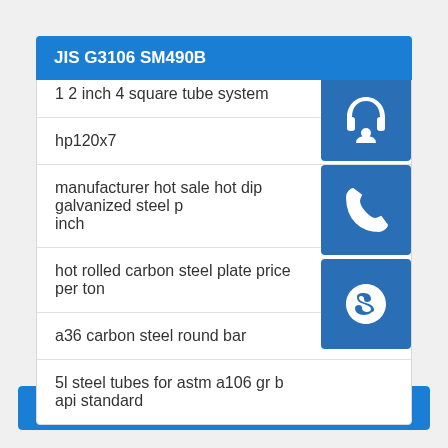JIS G3106 SM490B
1 2 inch 4 square tube system
hp120x7
manufacturer hot sale hot dip galvanized steel p inch
hot rolled carbon steel plate price per ton
a36 carbon steel round bar
5l steel tubes for astm a106 gr b api standard
DIN17100 St52-3